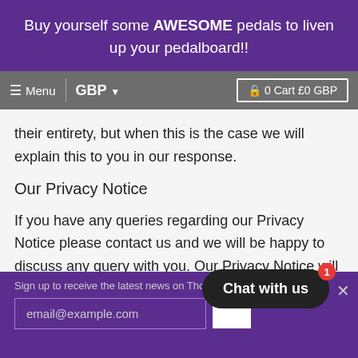Buy yourself some AWESOME pedals to liven up your pedalboard!!
≡ Menu  GBP ▼   🔒 0 Cart £0 GBP
their entirety, but when this is the case we will explain this to you in our response.
Our Privacy Notice
If you have any queries regarding our Privacy Notice please contact us and we will be happy to discuss any query with you. Our Privacy Notice will be updated from time to time so please check it each time you submit personal data to us or purchase
Sign up to receive the latest news on ThorpyFx...
email@example.com
Chat with us